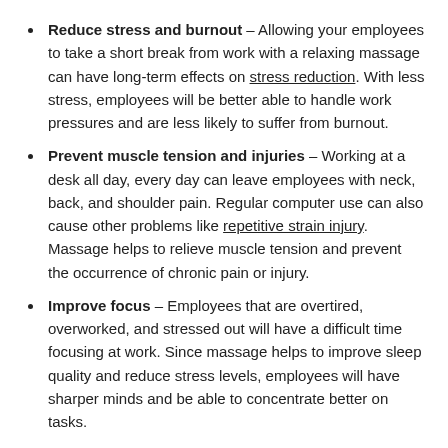Reduce stress and burnout – Allowing your employees to take a short break from work with a relaxing massage can have long-term effects on stress reduction. With less stress, employees will be better able to handle work pressures and are less likely to suffer from burnout.
Prevent muscle tension and injuries – Working at a desk all day, every day can leave employees with neck, back, and shoulder pain. Regular computer use can also cause other problems like repetitive strain injury. Massage helps to relieve muscle tension and prevent the occurrence of chronic pain or injury.
Improve focus – Employees that are overtired, overworked, and stressed out will have a difficult time focusing at work. Since massage helps to improve sleep quality and reduce stress levels, employees will have sharper minds and be able to concentrate better on tasks.
Better job satisfaction – Treats like office massages make